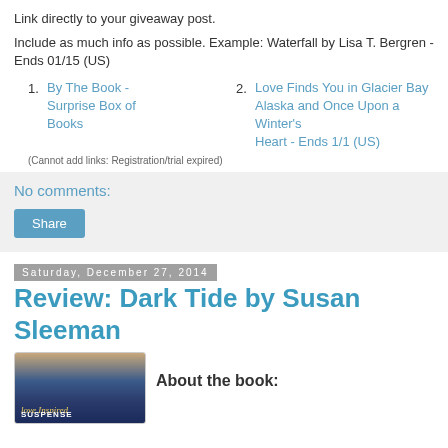Link directly to your giveaway post.
Include as much info as possible. Example: Waterfall by Lisa T. Bergren - Ends 01/15 (US)
1. By The Book - Surprise Box of Books
2. Love Finds You in Glacier Bay Alaska and Once Upon a Winter's Heart - Ends 1/1 (US)
(Cannot add links: Registration/trial expired)
No comments:
Share
Saturday, December 27, 2014
Review: Dark Tide by Susan Sleeman
[Figure (photo): Book cover showing Love Inspired Suspense]
About the book: